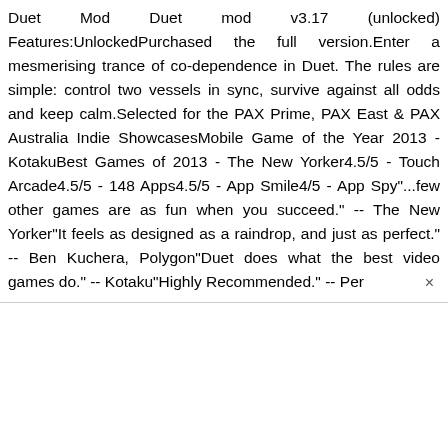Duet Mod Duet mod v3.17 (unlocked) Features:UnlockedPurchased the full version.Enter a mesmerising trance of co-dependence in Duet. The rules are simple: control two vessels in sync, survive against all odds and keep calm.Selected for the PAX Prime, PAX East & PAX Australia Indie ShowcasesMobile Game of the Year 2013 - KotakuBest Games of 2013 - The New Yorker4.5/5 - Touch Arcade4.5/5 - 148 Apps4.5/5 - App Smile4/5 - App Spy"...few other games are as fun when you succeed." -- The New Yorker"It feels as designed as a raindrop, and just as perfect." -- Ben Kuchera, Polygon"Duet does what the best video games do." -- Kotaku"Highly Recommended." -- Per ×